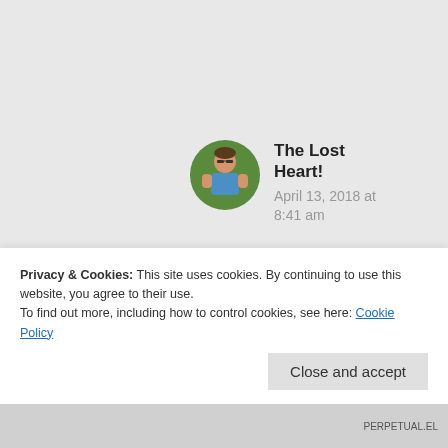[Figure (photo): Circular avatar photo of a man in a blue tank top outdoors]
The Lost Heart!
April 13, 2018 at 8:41 am
Shravan was typo. 🙈 🙈. Ya this is. 2016 it was. The year wiped
Privacy & Cookies: This site uses cookies. By continuing to use this website, you agree to their use.
To find out more, including how to control cookies, see here: Cookie Policy
Close and accept